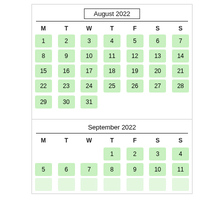| M | T | W | T | F | S | S |
| --- | --- | --- | --- | --- | --- | --- |
| 1 | 2 | 3 | 4 | 5 | 6 | 7 |
| 8 | 9 | 10 | 11 | 12 | 13 | 14 |
| 15 | 16 | 17 | 18 | 19 | 20 | 21 |
| 22 | 23 | 24 | 25 | 26 | 27 | 28 |
| 29 | 30 | 31 |  |  |  |  |
| M | T | W | T | F | S | S |
| --- | --- | --- | --- | --- | --- | --- |
|  |  |  | 1 | 2 | 3 | 4 |
| 5 | 6 | 7 | 8 | 9 | 10 | 11 |